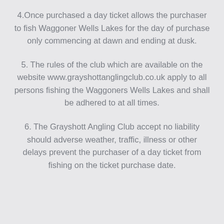4.Once purchased a day ticket allows the purchaser to fish Waggoner Wells Lakes for the day of purchase only commencing at dawn and ending at dusk.
5. The rules of the club which are available on the website www.grayshottanglingclub.co.uk apply to all persons fishing the Waggoners Wells Lakes and shall be adhered to at all times.
6. The Grayshott Angling Club accept no liability should adverse weather, traffic, illness or other delays prevent the purchaser of a day ticket from fishing on the ticket purchase date.